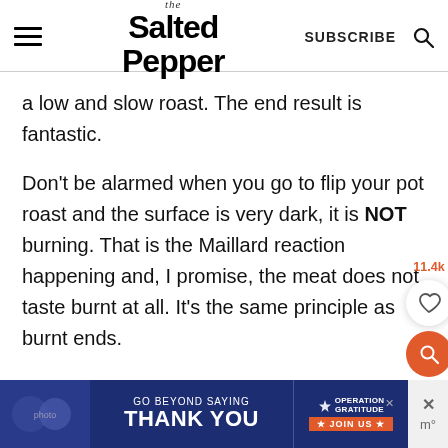the Salted Pepper | SUBSCRIBE
a low and slow roast. The end result is fantastic.
Don't be alarmed when you go to flip your pot roast and the surface is very dark, it is NOT burning. That is the Maillard reaction happening and, I promise, the meat does not taste burnt at all. It's the same principle as burnt ends.
[Figure (screenshot): Advertisement banner: GO BEYOND SAYING THANK YOU — Operation Gratitude JOIN US]
11.4k saves widget and search button overlay